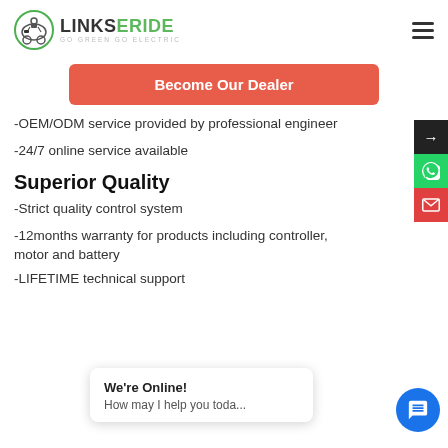LINKSERIDE — GO GREEN GO ELECTRIC
Become Our Dealer
-OEM/ODM service provided by professional engineer
-24/7 online service available
Superior Quality
-Strict quality control system
-12months warranty for products including controller, motor and battery
-LIFETIME technical support
We're Online! How may I help you toda...